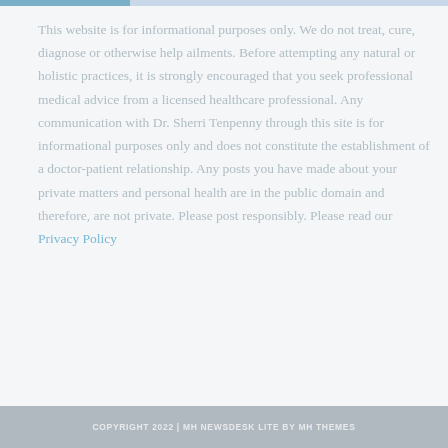This website is for informational purposes only. We do not treat, cure, diagnose or otherwise help ailments. Before attempting any natural or holistic practices, it is strongly encouraged that you seek professional medical advice from a licensed healthcare professional. Any communication with Dr. Sherri Tenpenny through this site is for informational purposes only and does not constitute the establishment of a doctor-patient relationship. Any posts you have made about your private matters and personal health are in the public domain and therefore, are not private. Please post responsibly. Please read our Privacy Policy
COPYRIGHT 2022 | MH NEWSDESK LITE BY MH THEMES